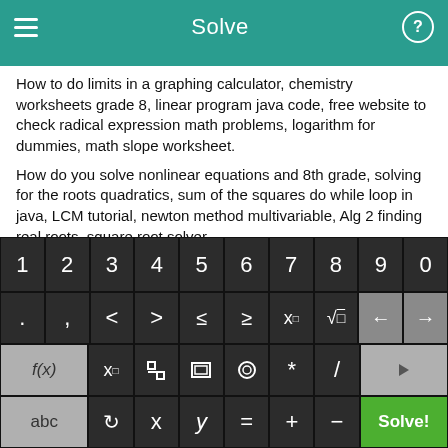Solve
How to do limits in a graphing calculator, chemistry worksheets grade 8, linear program java code, free website to check radical expression math problems, logarithm for dummies, math slope worksheet.
How do you solve nonlinear equations and 8th grade, solving for the roots quadratics, sum of the squares do while loop in java, LCM tutorial, newton method multivariable, Alg 2 finding real roots, square root solver.
[Figure (screenshot): Calculator keyboard with numeric keys 1-9,0; symbol keys including . , < > ≤ ≥ x□ √□ and arrow keys; function keys f(x), x□, fraction, absolute value, grouping, *, /; and bottom row with abc, rotation, x, y, =, +, -, and green Solve! button.]